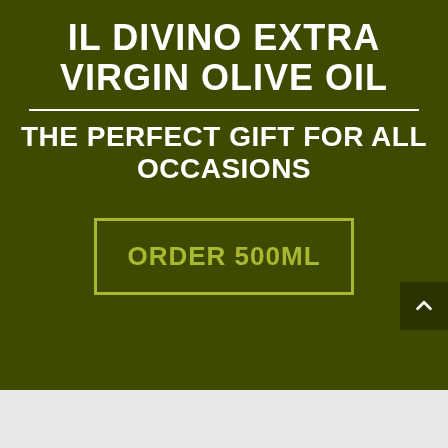IL DIVINO EXTRA VIRGIN OLIVE OIL
THE PERFECT GIFT FOR ALL OCCASIONS
ORDER 500ML